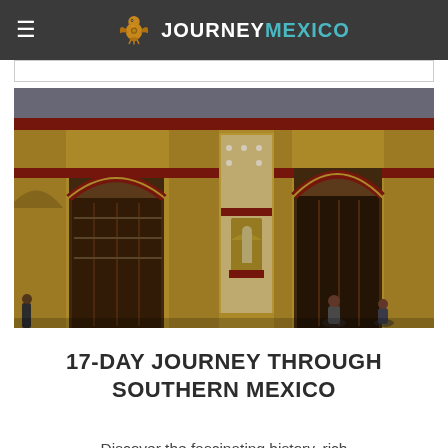JOURNEY MEXICO
[Figure (photo): Facade of a yellow colonial church in southern Mexico with arched doorways, red trim, ornate white decorative details, and a religious statue in a niche. People sit on steps in the foreground.]
17-DAY JOURNEY THROUGH SOUTHERN MEXICO
Discover the fascinating history, rich culture and natural wonders of southern